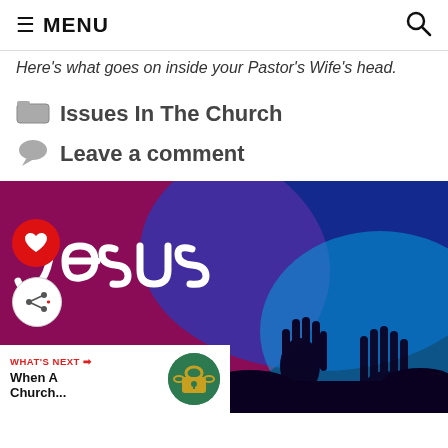≡ MENU  🔍
Here's what goes on inside your Pastor's Wife's head.
Issues In The Church
Leave a comment
[Figure (photo): A worship scene with silhouetted hands raised against a colorful neon 'Jesus' sign background in pink, purple and blue lighting.]
WHAT'S NEXT → When A Church...